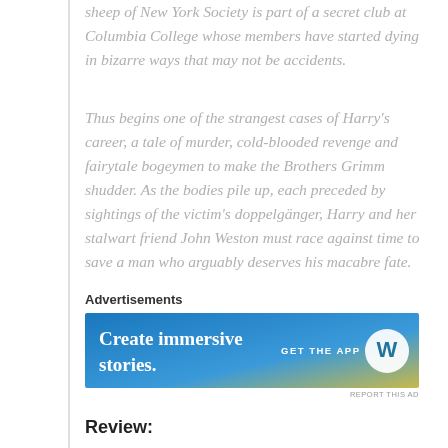sheep of New York Society is part of a secret club at Columbia College whose members have started dying in bizarre ways that may not be accidents.
Thus begins one of the strangest cases of Harry's career, a tale of murder, cold-blooded revenge and fairytale bogeymen to make the Brothers Grimm shudder. As the bodies pile up, each preceded by sightings of the victim's doppelgänger, Harry and her stalwart friend John Weston must race against time to save a man who arguably deserves his macabre fate.
[Figure (other): Advertisement banner for WordPress: 'Create immersive stories. GET THE APP' with WordPress logo, gradient blue to yellow background.]
Review:
This is the third book I've read in the Gaslamp Gothic series